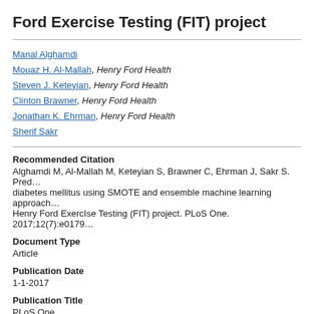Ford Exercise Testing (FIT) project
Manal Alghamdi
Mouaz H. Al-Mallah, Henry Ford Health
Steven J. Keteyian, Henry Ford Health
Clinton Brawner, Henry Ford Health
Jonathan K. Ehrman, Henry Ford Health
Sherif Sakr
Recommended Citation
Alghamdi M, Al-Mallah M, Keteyian S, Brawner C, Ehrman J, Sakr S. Predicting diabetes mellitus using SMOTE and ensemble machine learning approaches: The Henry Ford Exercise Testing (FIT) project. PLoS One. 2017;12(7):e0179805.
Document Type
Article
Publication Date
1-1-2017
Publication Title
PLoS One
Abstract
Machine learning is becoming a popular and important approach in the fie